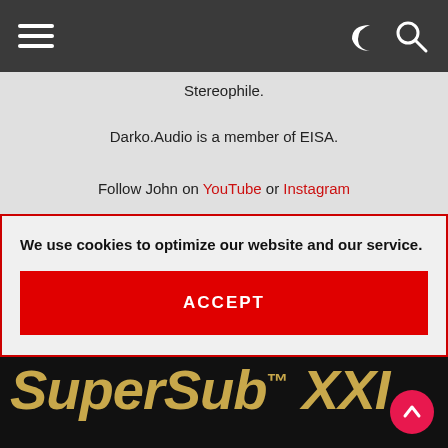Navigation bar with hamburger menu, dark/light mode toggle, and search icon
Stereophile.
Darko.Audio is a member of EISA.
Follow John on YouTube or Instagram
We use cookies to optimize our website and our service.
ACCEPT
[Figure (screenshot): SuperSub XXL logo in gold italic text on black background]